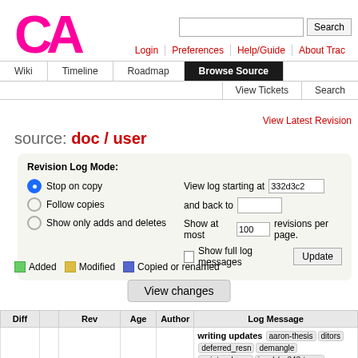[Figure (logo): CA logo in pink/magenta bold text]
Login | Preferences | Help/Guide | About Trac
Wiki | Timeline | Roadmap | Browse Source | View Tickets | Search
View Latest Revision
source: doc / user
Revision Log Mode: Stop on copy / Follow copies / Show only adds and deletes. View log starting at 332d3c2 and back to. Show at most 100 revisions per page. Show full log messages. Update.
Added  Modified  Copied or renamed
View changes
| Diff |  | Rev | Age | Author | Log Message |
| --- | --- | --- | --- | --- | --- |
| ○ ● | □ | @48b9b36 ⚙ | 4 years | pabuhr | writing updates  aaron-thesis  ditors  deferred_resn  demangle  pointer-decay  jacob/cs343-trans  sandbox  new-ast  new-ast-uni  env  no_list  persistent-indexer  emulation  with_gc |